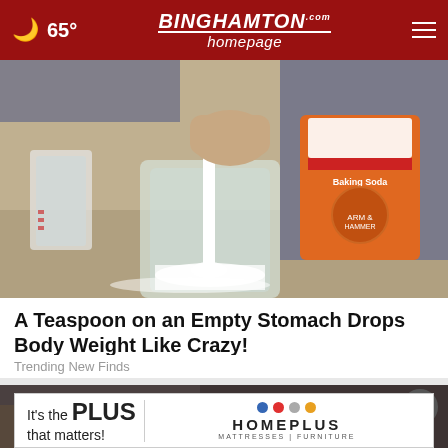65° | BINGHAMTON homepage.com
[Figure (photo): Person holding an Arm & Hammer Pure Baking Soda box in one hand while stirring white powder in a glass mason jar with a white spoon. A measuring cup is visible in background.]
A Teaspoon on an Empty Stomach Drops Body Weight Like Crazy!
Trending New Finds
[Figure (photo): Partial second article image, partially obscured by advertisement overlay with close button.]
[Figure (other): Advertisement banner: It's the PLUS that matters! HOMEPLUS MATTRESSES | FURNITURE with colored dots logo.]